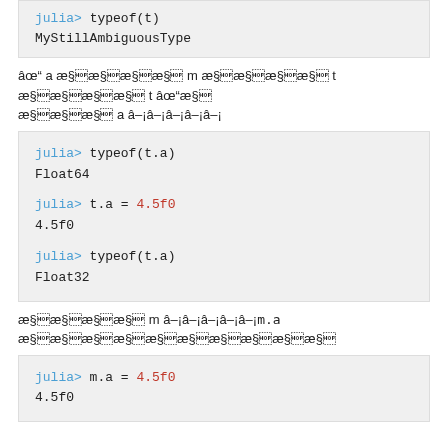[Figure (screenshot): Julia REPL code block showing: julia> typeof(t) / MyStillAmbiguousType]
[garbled text] a [garbled] m [garbled] t [garbled] t [garbled] [garbled] a [garbled]
[Figure (screenshot): Julia REPL code block showing: julia> typeof(t.a) / Float64 / julia> t.a = 4.5f0 / 4.5f0 / julia> typeof(t.a) / Float32]
[garbled] m [garbled] m.a [garbled]
[Figure (screenshot): Julia REPL code block showing: julia> m.a = 4.5f0 / 4.5f0]